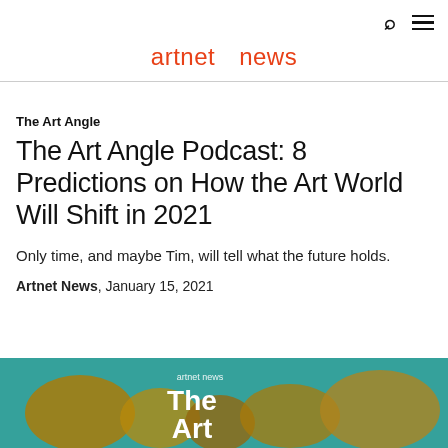artnet news
The Art Angle
The Art Angle Podcast: 8 Predictions on How the Art World Will Shift in 2021
Only time, and maybe Tim, will tell what the future holds.
Artnet News, January 15, 2021
[Figure (photo): A hand holding a phone or device displaying 'The Art Angle' artnet news branding, with teal/green background and close-up of fingers]